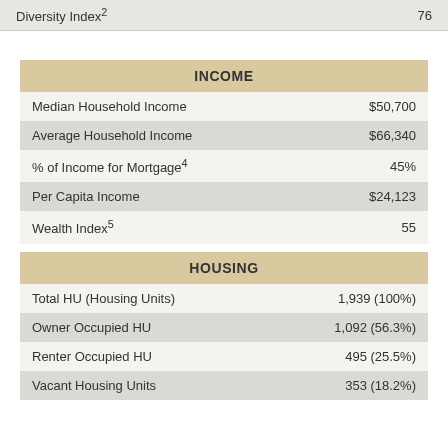|  |  |
| --- | --- |
| Diversity Index² | 76 |
| INCOME |  |
| --- | --- |
| Median Household Income | $50,700 |
| Average Household Income | $66,340 |
| % of Income for Mortgage⁴ | 45% |
| Per Capita Income | $24,123 |
| Wealth Index⁵ | 55 |
| HOUSING |  |
| --- | --- |
| Total HU (Housing Units) | 1,939 (100%) |
| Owner Occupied HU | 1,092 (56.3%) |
| Renter Occupied HU | 495 (25.5%) |
| Vacant Housing Units | 353 (18.2%) |